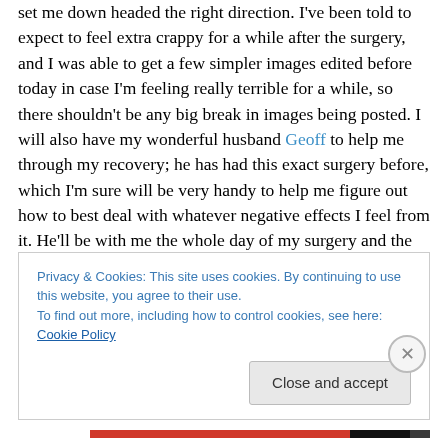set me down headed the right direction.  I've been told to expect to feel extra crappy for a while after the surgery, and I was able to get a few simpler images edited before today in case I'm feeling really terrible for a while, so there shouldn't be any big break in images being posted.  I will also have my wonderful husband Geoff to help me through my recovery; he has had this exact surgery before, which I'm sure will be very handy to help me figure out how to best deal with whatever negative effects I feel from it.  He'll be with me the whole day of my surgery and the next, and after that I should be ok to be on my own.  But I've got my
Privacy & Cookies: This site uses cookies. By continuing to use this website, you agree to their use.
To find out more, including how to control cookies, see here: Cookie Policy